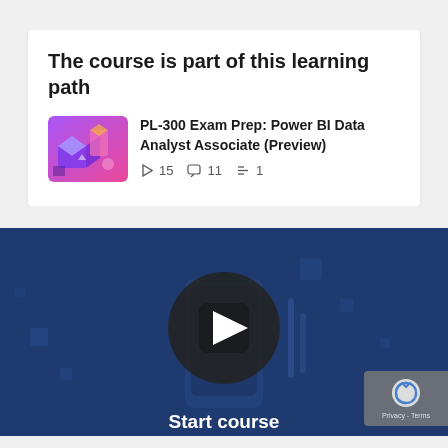The course is part of this learning path
[Figure (illustration): Thumbnail image for PL-300 Exam Prep course showing isometric 3D illustration with purple and pink tones]
PL-300 Exam Prep: Power BI Data Analyst Associate (Preview)
▷ 15  🗩 11  := 1
[Figure (screenshot): Video player with dark blue background showing a play button circle in the center and 'Start course' text at the bottom, with a reCAPTCHA badge in the lower right]